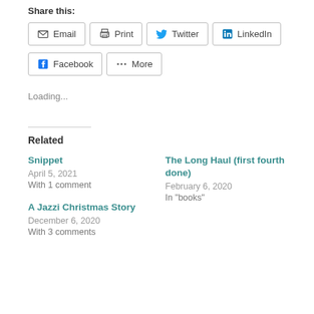Share this:
Email | Print | Twitter | LinkedIn | Facebook | More
Loading...
Related
Snippet
April 5, 2021
With 1 comment
The Long Haul (first fourth done)
February 6, 2020
In "books"
A Jazzi Christmas Story
December 6, 2020
With 3 comments